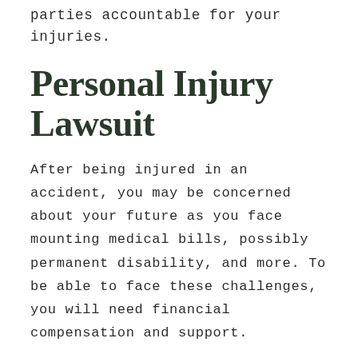parties accountable for your injuries.
Personal Injury Lawsuit
After being injured in an accident, you may be concerned about your future as you face mounting medical bills, possibly permanent disability, and more. To be able to face these challenges, you will need financial compensation and support.
If another party is responsible for your injuries, a lawsuit may need to be filed in order to force them to take responsibility. It is important to note, however, that a lawsuit being filed does not mean you will have to go